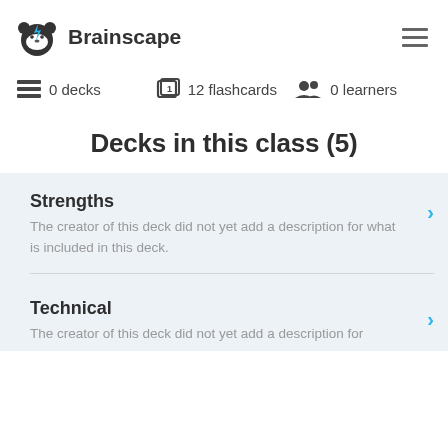[Figure (logo): Brainscape logo: cartoon bear face with lightning bolt, next to bold text 'Brainscape']
0 decks   12 flashcards   0 learners
Decks in this class (5)
Strengths
The creator of this deck did not yet add a description for what is included in this deck.
Technical
The creator of this deck did not yet add a description for